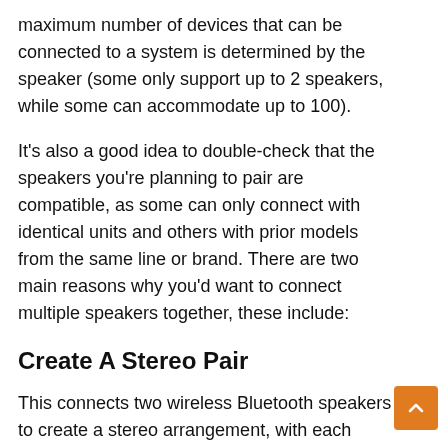maximum number of devices that can be connected to a system is determined by the speaker (some only support up to 2 speakers, while some can accommodate up to 100).
It's also a good idea to double-check that the speakers you're planning to pair are compatible, as some can only connect with identical units and others with prior models from the same line or brand. There are two main reasons why you'd want to connect multiple speakers together, these include:
Create A Stereo Pair
This connects two wireless Bluetooth speakers to create a stereo arrangement, with each speaker carrying information from the left or right channel, respectively. This produces a larger stereo field than a single Bluetooth speaker, resulting in a listening